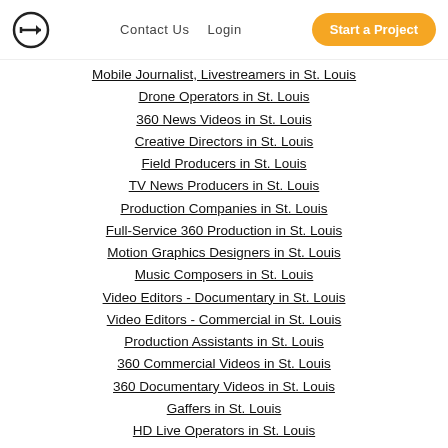Contact Us | Login | Start a Project
Mobile Journalist, Livestreamers in St. Louis
Drone Operators in St. Louis
360 News Videos in St. Louis
Creative Directors in St. Louis
Field Producers in St. Louis
TV News Producers in St. Louis
Production Companies in St. Louis
Full-Service 360 Production in St. Louis
Motion Graphics Designers in St. Louis
Music Composers in St. Louis
Video Editors - Documentary in St. Louis
Video Editors - Commercial in St. Louis
Production Assistants in St. Louis
360 Commercial Videos in St. Louis
360 Documentary Videos in St. Louis
Gaffers in St. Louis
HD Live Operators in St. Louis
Full-Service Live Production in St. Louis
Audio Storytellers in St. Louis